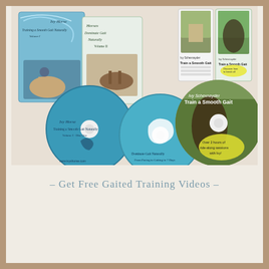[Figure (photo): Product image showing DVD/CD sets for gaited horse training videos. Left side shows two DVD cases titled 'Train a Smooth Gait Naturally Volume I' and 'Volume II' with horse and rider images, accompanied by two teal/turquoise CDs. Right side shows two DVD cases and one large CD for 'Ivy Schexnayder Train a Smooth Gait' video series with ride-along sessions content.]
- Get Free Gaited Training Videos -